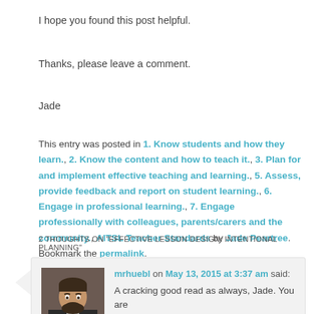I hope you found this post helpful.
Thanks, please leave a comment.
Jade
This entry was posted in 1. Know students and how they learn., 2. Know the content and how to teach it., 3. Plan for and implement effective teaching and learning., 5. Assess, provide feedback and report on student learning., 6. Engage in professional learning., 7. Engage professionally with colleagues, parents/carers and the community., AITSL Teacher Standards by Jade Peartree. Bookmark the permalink.
2 THOUGHTS ON "EFFECTIVE LESSON DESIGN: INTENTIONAL PLANNING"
mrhuebl on May 13, 2015 at 3:37 am said:
A cracking good read as always, Jade. You are